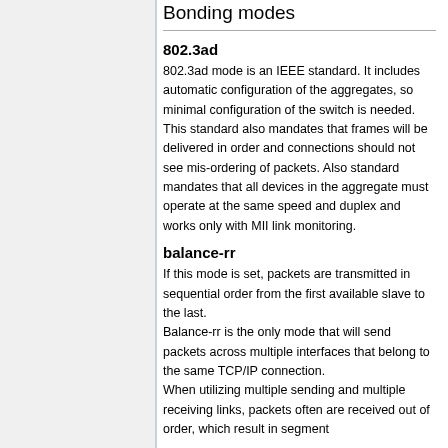Bonding modes
802.3ad
802.3ad mode is an IEEE standard. It includes automatic configuration of the aggregates, so minimal configuration of the switch is needed. This standard also mandates that frames will be delivered in order and connections should not see mis-ordering of packets. Also standard mandates that all devices in the aggregate must operate at the same speed and duplex and works only with MII link monitoring.
balance-rr
If this mode is set, packets are transmitted in sequential order from the first available slave to the last.
Balance-rr is the only mode that will send packets across multiple interfaces that belong to the same TCP/IP connection.
When utilizing multiple sending and multiple receiving links, packets often are received out of order, which result in segment